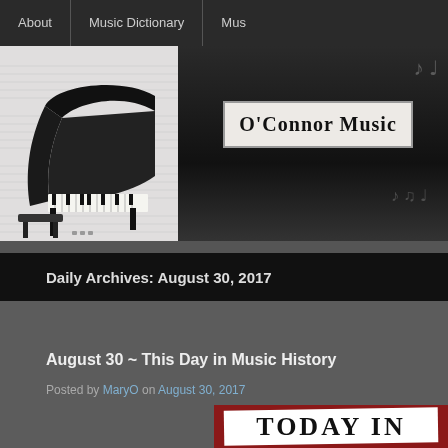About | Music Dictionary | Mus...
[Figure (photo): Grand piano with bench on sheet music background, black and white image on light grey textured background]
O'Connor Music
Daily Archives: August 30, 2017
August 30 ~ This Day in Music History
Posted by MaryO on August 30, 2017
[Figure (photo): Today In bold headline text on dark red background, partially visible at bottom of page]